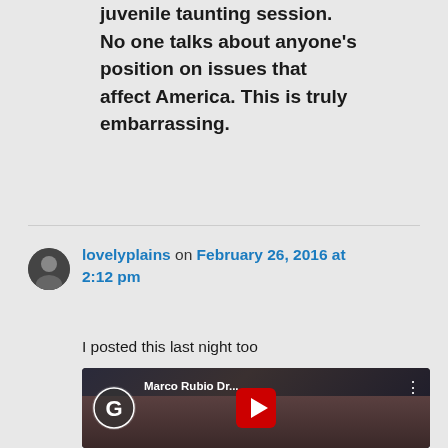juvenile taunting session. No one talks about anyone's position on issues that affect America. This is truly embarrassing.
lovelyplains on February 26, 2016 at 2:12 pm
I posted this last night too
[Figure (screenshot): YouTube video thumbnail showing 'Marco Rubio Dr...' with a play button, YouTube-style interface with a G logo (Grab channel), three-dot menu, and a person visible in the background.]